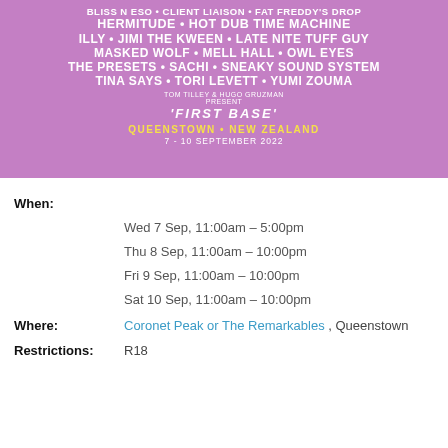[Figure (illustration): Festival poster banner with purple background showing artist lineup text and winter mountain illustration. Artists listed: BLISS N ESO, CLIENT LIAISON, FAT FREDDY'S DROP, HERMITUDE, HOT DUB TIME MACHINE, ILLY, JIMI THE KWEEN, LATE NITE TUFF GUY, MASKED WOLF, MELL HALL, OWL EYES, THE PRESETS, SACHI, SNEAKY SOUND SYSTEM, TINA SAYS, TORI LEVETT, YUMI ZOUMA. Tom Tilley & Hugo Gruzman present 'FIRST BASE'. QUEENSTOWN • NEW ZEALAND, 7–10 SEPTEMBER 2022]
When:
Wed 7 Sep, 11:00am – 5:00pm
Thu 8 Sep, 11:00am – 10:00pm
Fri 9 Sep, 11:00am – 10:00pm
Sat 10 Sep, 11:00am – 10:00pm
Where: Coronet Peak or The Remarkables , Queenstown
Restrictions: R18